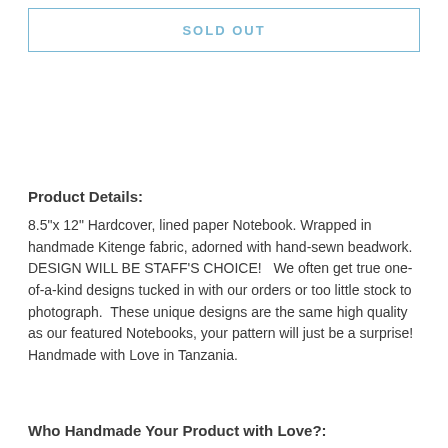SOLD OUT
Product Details:
8.5"x 12" Hardcover, lined paper Notebook. Wrapped in handmade Kitenge fabric, adorned with hand-sewn beadwork. DESIGN WILL BE STAFF'S CHOICE!   We often get true one-of-a-kind designs tucked in with our orders or too little stock to photograph.  These unique designs are the same high quality as our featured Notebooks, your pattern will just be a surprise!
Handmade with Love in Tanzania.
Who Handmade Your Product with Love?: